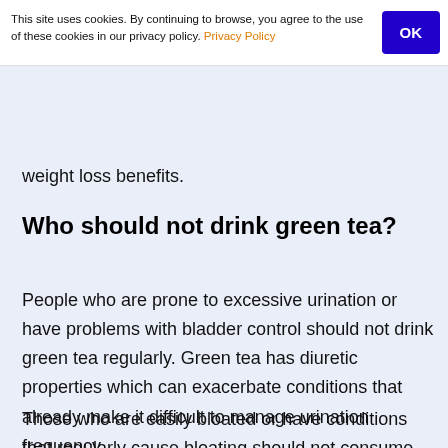This site uses cookies. By continuing to browse, you agree to the use of these cookies in our privacy policy. Privacy Policy
weight loss benefits.
Who should not drink green tea?
People who are prone to excessive urination or have problems with bladder control should not drink green tea regularly. Green tea has diuretic properties which can exacerbate conditions that already make it difficult to manage urination frequency.
Those who are easily bloated or have conditions that regularly cause bloating should not consume that much green tea as well, as this can cause